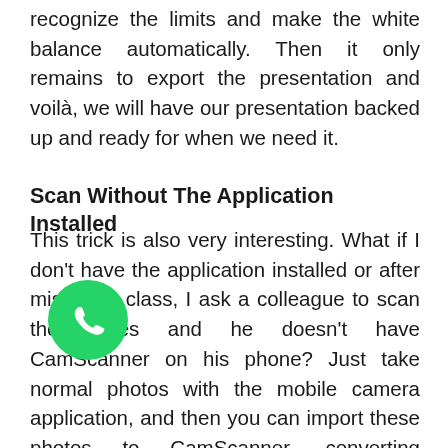recognize the limits and make the white balance automatically. Then it only remains to export the presentation and voilà, we will have our presentation backed up and ready for when we need it.
Scan Without The Application Installed
This trick is also very interesting. What if I don't have the application installed or after missing a class, I ask a colleague to scan the slides and he doesn't have CamScanner on his phone? Just take normal photos with the mobile camera application, and then you can import these photos to CamScanner, converting unbalanced photos into the backup presentation we wanted.
[Figure (illustration): WhatsApp logo icon — green circle with white phone/chat icon]